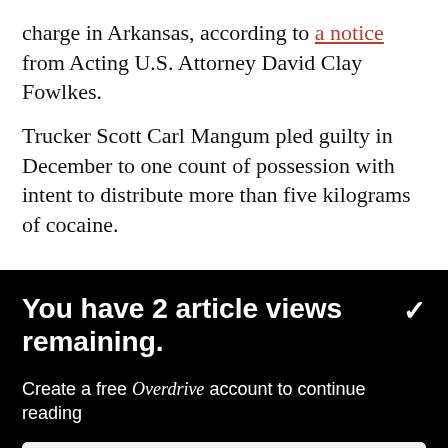charge in Arkansas, according to a notice from Acting U.S. Attorney David Clay Fowlkes.
Trucker Scott Carl Mangum pled guilty in December to one count of possession with intent to distribute more than five kilograms of cocaine.
You have 2 article views remaining.
Create a free Overdrive account to continue reading